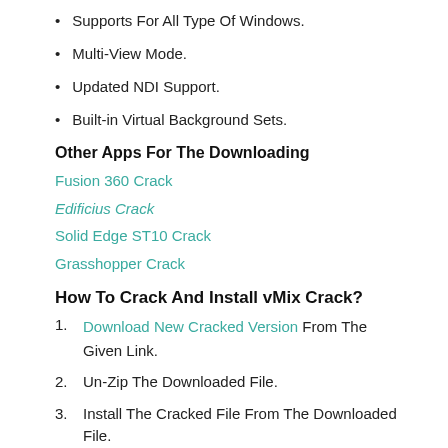Supports For All Type Of Windows.
Multi-View Mode.
Updated NDI Support.
Built-in Virtual Background Sets.
Other Apps For The Downloading
Fusion 360 Crack
Edificius Crack
Solid Edge ST10 Crack
Grasshopper Crack
How To Crack And Install vMix Crack?
Download New Cracked Version From The Given Link.
Un-Zip The Downloaded File.
Install The Cracked File From The Downloaded File.
Simply Run And Enjoy The Cracked File.